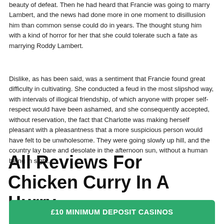beauty of defeat. Then he had heard that Francie was going to marry Lambert, and the news had done more in one moment to disillusion him than common sense could do in years. The thought stung him with a kind of horror for her that she could tolerate such a fate as marrying Roddy Lambert.
Dislike, as has been said, was a sentiment that Francie found great difficulty in cultivating. She conducted a feud in the most slipshod way, with intervals of illogical friendship, of which anyone with proper self-respect would have been ashamed, and she consequently accepted, without reservation, the fact that Charlotte was making herself pleasant with a pleasantness that a more suspicious person would have felt to be unwholesome. They were going slowly up hill, and the country lay bare and desolate in the afternoon sun, without a human being in sight.
All Reviews For Chicken Curry In A Hurry
[Figure (infographic): Green banner with two dice icons on left and right, and text '£10 MINIMUM DEPOSIT CASINOS' in white bold uppercase letters]